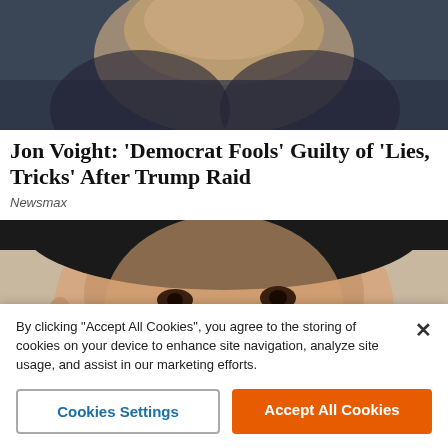[Figure (photo): Close-up photo of an elderly man's face, wearing a dark suit, partially visible from the nose down]
Jon Voight: 'Democrat Fools' Guilty of 'Lies, Tricks' After Trump Raid
Newsmax
[Figure (photo): Close-up photo of a young Asian woman with a white bandage or cream covering her nose area]
By clicking "Accept All Cookies", you agree to the storing of cookies on your device to enhance site navigation, analyze site usage, and assist in our marketing efforts.
Cookies Settings
Accept All Cookies